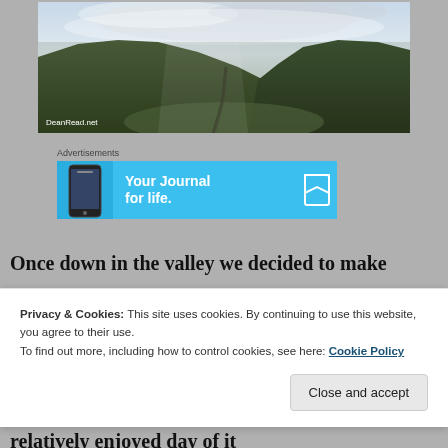[Figure (photo): Landscape panoramic photo of green hills/mountains under a dramatic cloudy sky with a path through the valley. Watermark: DeanRead.net]
Advertisements
[Figure (screenshot): Advertisement banner with sky-blue background showing a phone image and text: 'Your Journal for life']
Once down in the valley we decided to make
Privacy & Cookies: This site uses cookies. By continuing to use this website, you agree to their use.
To find out more, including how to control cookies, see here: Cookie Policy
Close and accept
relatively enjoyed day of it